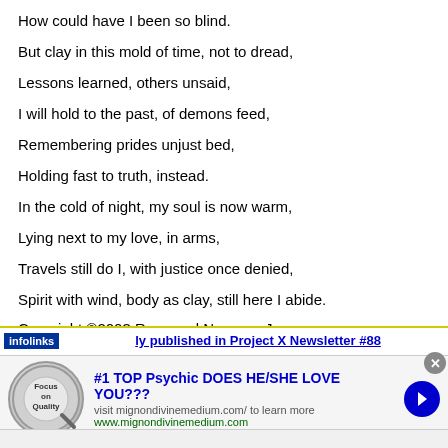How could have I been so blind.
But clay in this mold of time, not to dread,
Lessons learned, others unsaid,
I will hold to the past, of demons feed,
Remembering prides unjust bed,
Holding fast to truth, instead.
In the cold of night, my soul is now warm,
Lying next to my love, in arms,
Travels still do I, with justice once denied,
Spirit with wind, body as clay, still here I abide.
Copyright ©2003 Raymond Navarro, Jr.
originally published in Project X Newsletter #88
[Figure (infographic): Advertisement banner: Focus on Quality logo, '#1 TOP Psychic DOES HE/SHE LOVE YOU???' with link to mignondivinemedium.com, blue arrow button, and infolinks label]